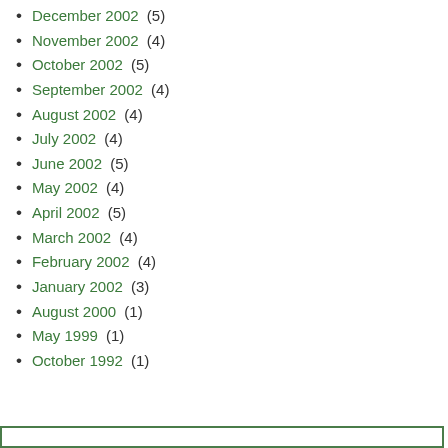December 2002 (5)
November 2002 (4)
October 2002 (5)
September 2002 (4)
August 2002 (4)
July 2002 (4)
June 2002 (5)
May 2002 (4)
April 2002 (5)
March 2002 (4)
February 2002 (4)
January 2002 (3)
August 2000 (1)
May 1999 (1)
October 1992 (1)